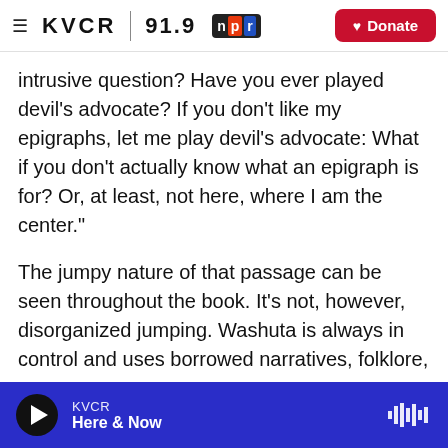≡ KVCR 91.9 npr [Donate]
intrusive question? Have you ever played devil's advocate? If you don't like my epigraphs, let me play devil's advocate: What if you don't actually know what an epigraph is for? Or, at least, not here, where I am the center."
The jumpy nature of that passage can be seen throughout the book. It's not, however, disorganized jumping. Washuta is always in control and uses borrowed narratives, folklore, legends, myths, and occasional help not only from books but also from Google and Wikipedia to infuse every essay in White Magic with information that shows she's not
KVCR Here & Now